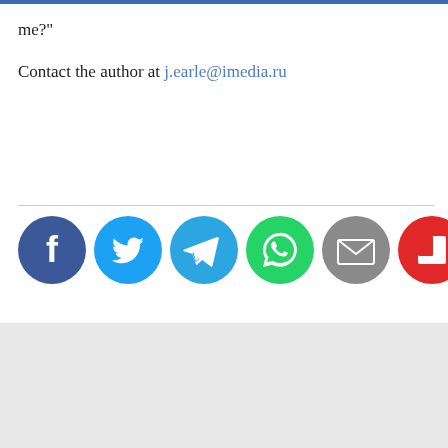me?"
Contact the author at j.earle@imedia.ru
[Figure (infographic): Row of six social media share icons: Facebook (dark blue circle with f), Twitter (light blue circle with bird), Telegram (blue circle with paper plane), WhatsApp (green circle with phone), Email (gray circle with envelope), Flipboard (red circle with f)]